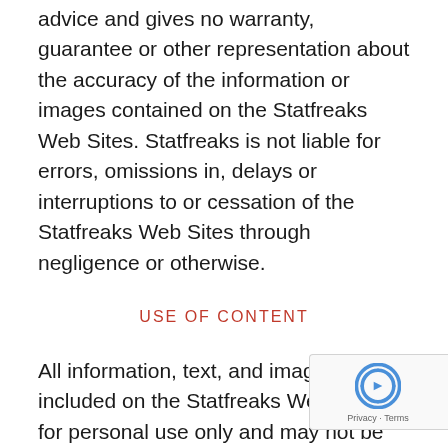advice and gives no warranty, guarantee or other representation about the accuracy of the information or images contained on the Statfreaks Web Sites. Statfreaks is not liable for errors, omissions in, delays or interruptions to or cessation of the Statfreaks Web Sites through negligence or otherwise.
USE OF CONTENT
All information, text, and images included on the Statfreaks Web Sites is for personal use only and may not be re-written, copied, re-sold or re-distributed, framed, linked or otherwise used whether for compensation of any kind or not,